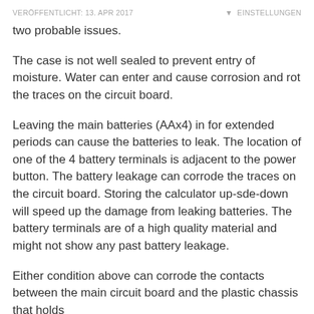VERÖFFENTLICHT: 13. APR 2017   ▾ EINSTELLUNGEN
two probable issues.
The case is not well sealed to prevent entry of moisture. Water can enter and cause corrosion and rot the traces on the circuit board.
Leaving the main batteries (AAx4) in for extended periods can cause the batteries to leak. The location of one of the 4 battery terminals is adjacent to the power button. The battery leakage can corrode the traces on the circuit board. Storing the calculator up-sde-down will speed up the damage from leaking batteries. The battery terminals are of a high quality material and might not show any past battery leakage.
Either condition above can corrode the contacts between the main circuit board and the plastic chassis that holds